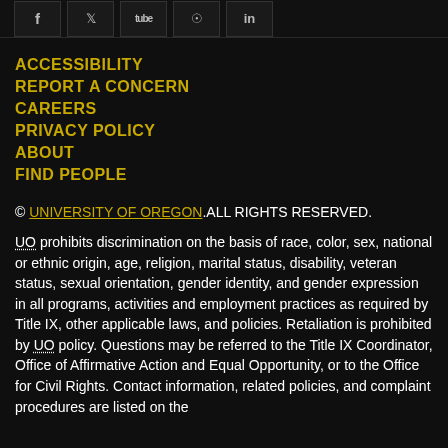[Figure (other): Social media icon buttons for Facebook, Twitter, YouTube, Google+, and LinkedIn, partially cropped at top of page]
ACCESSIBILITY
REPORT A CONCERN
CAREERS
PRIVACY POLICY
ABOUT
FIND PEOPLE
© UNIVERSITY OF OREGON. ALL RIGHTS RESERVED.
UO prohibits discrimination on the basis of race, color, sex, national or ethnic origin, age, religion, marital status, disability, veteran status, sexual orientation, gender identity, and gender expression in all programs, activities and employment practices as required by Title IX, other applicable laws, and policies. Retaliation is prohibited by UO policy. Questions may be referred to the Title IX Coordinator, Office of Affirmative Action and Equal Opportunity, or to the Office for Civil Rights. Contact information, related policies, and complaint procedures are listed on the